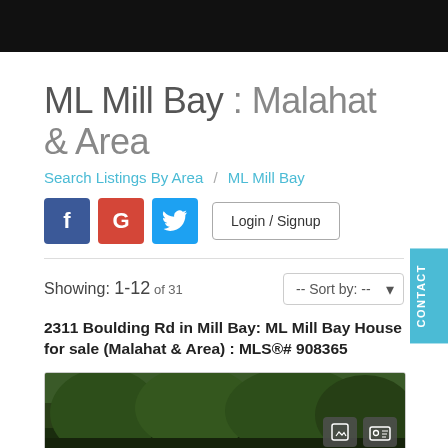ML Mill Bay : Malahat & Area
Search Listings By Area / ML Mill Bay
[Figure (screenshot): Social login buttons: Facebook (blue), Google (red), Twitter (blue), and Login/Signup button]
Showing: 1-12 of 31
-- Sort by: --
2311 Boulding Rd in Mill Bay: ML Mill Bay House for sale (Malahat & Area) : MLS®# 908365
[Figure (photo): Aerial/landscape photo of a property in Mill Bay with trees in the foreground]